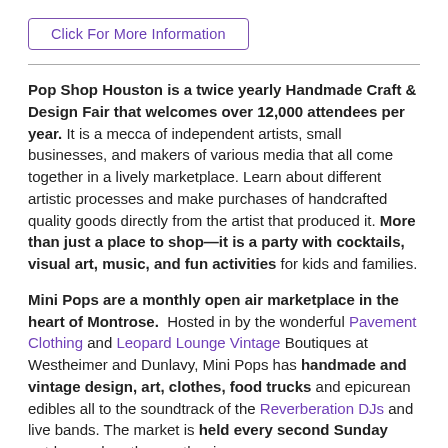Click For More Information
Pop Shop Houston is a twice yearly Handmade Craft & Design Fair that welcomes over 12,000 attendees per year. It is a mecca of independent artists, small businesses, and makers of various media that all come together in a lively marketplace. Learn about different artistic processes and make purchases of handcrafted quality goods directly from the artist that produced it. More than just a place to shop—it is a party with cocktails, visual art, music, and fun activities for kids and families.
Mini Pops are a monthly open air marketplace in the heart of Montrose. Hosted in by the wonderful Pavement Clothing and Leopard Lounge Vintage Boutiques at Westheimer and Dunlavy, Mini Pops has handmade and vintage design, art, clothes, food trucks and epicurean edibles all to the soundtrack of the Reverberation DJs and live bands. The market is held every second Sunday outdoors when the weather is